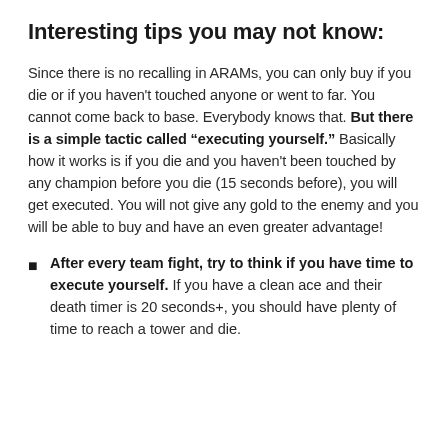Interesting tips you may not know:
Since there is no recalling in ARAMs, you can only buy if you die or if you haven't touched anyone or went to far. You cannot come back to base. Everybody knows that. But there is a simple tactic called “executing yourself.” Basically how it works is if you die and you haven't been touched by any champion before you die (15 seconds before), you will get executed. You will not give any gold to the enemy and you will be able to buy and have an even greater advantage!
After every team fight, try to think if you have time to execute yourself. If you have a clean ace and their death timer is 20 seconds+, you should have plenty of time to reach a tower and die.